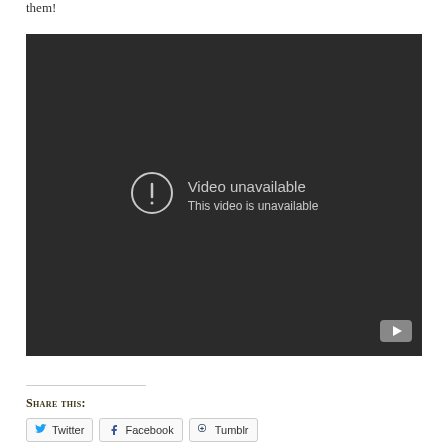them!
[Figure (screenshot): Embedded YouTube video player showing 'Video unavailable - This video is unavailable' error message on a dark background with a YouTube logo button in the bottom right corner.]
Share this:
Twitter
Facebook
Tumblr